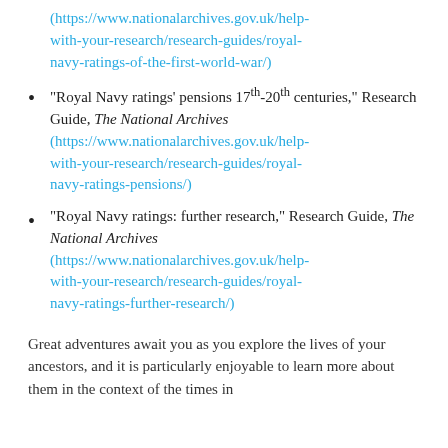(https://www.nationalarchives.gov.uk/help-with-your-research/research-guides/royal-navy-ratings-of-the-first-world-war/)
"Royal Navy ratings’ pensions 17th-20th centuries," Research Guide, The National Archives (https://www.nationalarchives.gov.uk/help-with-your-research/research-guides/royal-navy-ratings-pensions/)
"Royal Navy ratings: further research," Research Guide, The National Archives (https://www.nationalarchives.gov.uk/help-with-your-research/research-guides/royal-navy-ratings-further-research/)
Great adventures await you as you explore the lives of your ancestors, and it is particularly enjoyable to learn more about them in the context of the times in